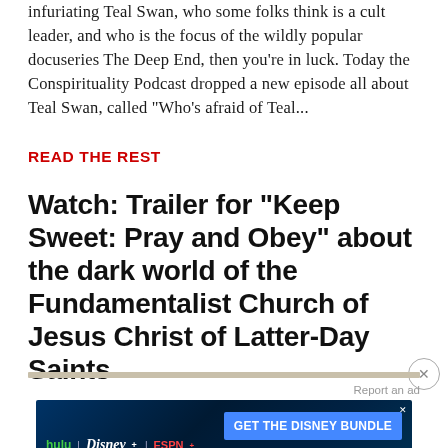infuriating Teal Swan, who some folks think is a cult leader, and who is the focus of the wildly popular docuseries The Deep End, then you're in luck. Today the Conspirituality Podcast dropped a new episode all about Teal Swan, called "Who's afraid of Teal...
READ THE REST
Watch: Trailer for "Keep Sweet: Pray and Obey" about the dark world of the Fundamentalist Church of Jesus Christ of Latter-Day Saints
[Figure (screenshot): Disney Bundle advertisement banner featuring Hulu, Disney+, and ESPN+ logos with a blue 'GET THE DISNEY BUNDLE' call-to-action button on a dark blue gradient background]